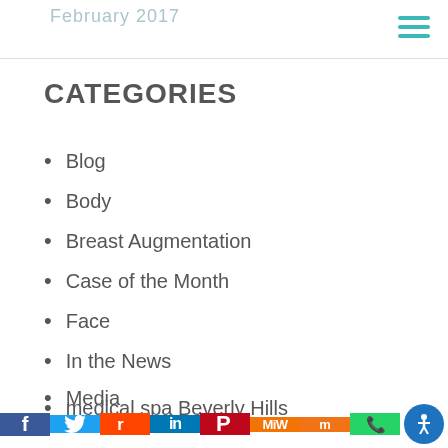February 2017
CATEGORIES
Blog
Body
Breast Augmentation
Case of the Month
Face
In the News
Media
medical spa Beverly Hills
Social share bar: Facebook, Twitter, Reddit, LinkedIn, Pinterest, MeWe, Mix, WhatsApp, Accessibility